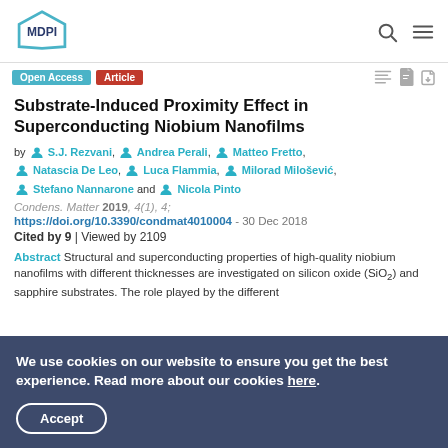MDPI logo, search and menu icons
Open Access | Article
Substrate-Induced Proximity Effect in Superconducting Niobium Nanofilms
by S.J. Rezvani, Andrea Perali, Matteo Fretto, Natascia De Leo, Luca Flammia, Milorad Milošević, Stefano Nannarone and Nicola Pinto
Condens. Matter 2019, 4(1), 4;
https://doi.org/10.3390/condmat4010004 - 30 Dec 2018
Cited by 9 | Viewed by 2109
Abstract Structural and superconducting properties of high-quality niobium nanofilms with different thicknesses are investigated on silicon oxide (SiO₂) and sapphire substrates. The role played by the different
We use cookies on our website to ensure you get the best experience. Read more about our cookies here.
Accept